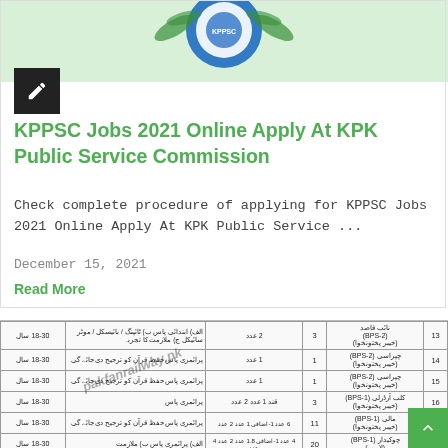[Figure (logo): KPPSC logo with blue and green circular emblem and laurel leaves at top of card]
KPPSC Jobs 2021 Online Apply At KPK Public Service Commission
Check complete procedure of applying for KPPSC Jobs 2021 Online Apply At KPK Public Service ...
December 15, 2021
Read More
|  | نوکری (BPS) | تعداد | رزرو نشستیں | تعلیمی قابلیت | عمر |
| --- | --- | --- | --- | --- | --- |
| 13 | نائب قاصد (BPS-2) (خیبر پختونخوا) | 3 | 2 عدد | الف) ابتدائی پاس
ب) ٹائپنگ / بائیسکل / موٹر سائیکل
ج) ملازمت کا تجربہ | 18-30 سال |
| 14 | چپراسی (BPS-2) (خیبر پختونخوا) | 1 | 1 عدد | پرائمری پاس حفظ قرآن کو ترجیح دی جائے گی | 18-30 سال |
| 15 | چپراسی (BPS-2) (خیبر پختونخوا) | 1 | 1 عدد | پرائمری پاس حفظ قرآن کو ترجیح دی جائے گی | 18-30 سال |
| 16 | کلب آرڈرلی (BPS-1) (خیبر پختونخوا) | 3 | 2 عدد قند 1 عدد | پرائمری پاس | 18-30 سال |
| 17 | مالی (BPS-1) (خیبر پختونخوا) | 11 | 6 عدد 1-اضافی 1 عدد 2 عدد | پرائمری پاس حفظ قرآن کو ترجیح دی جائے گی | 18-30 سال |
| 18 | چوکیدار (BPS-1) (لاہور) | 20 | 4 عدد 1-اضافی 1.8 عدد 2 عدد 4 عدد | الف) پرائمری پاس
ب) ملازمت | 18-30 سال |
[Figure (other): Watermark text: pakfanrailway.pk diagonal]